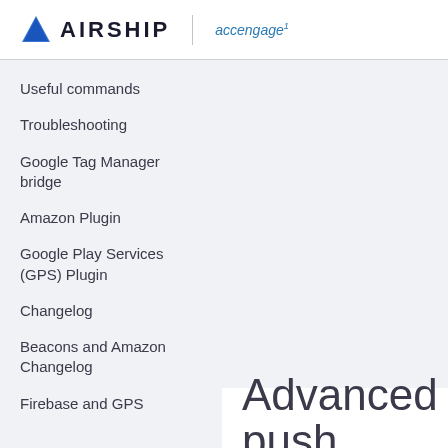AIRSHIP | accengage
Useful commands
Troubleshooting
Google Tag Manager bridge
Amazon Plugin
Google Play Services (GPS) Plugin
Changelog
Beacons and Amazon Changelog
Firebase and GPS
Advanced push